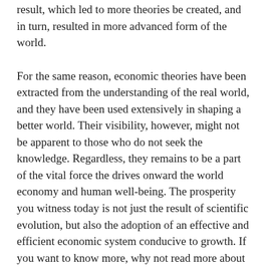result, which led to more theories be created, and in turn, resulted in more advanced form of the world.
For the same reason, economic theories have been extracted from the understanding of the real world, and they have been used extensively in shaping a better world. Their visibility, however, might not be apparent to those who do not seek the knowledge. Regardless, they remains to be a part of the vital force the drives onward the world economy and human well-being. The prosperity you witness today is not just the result of scientific evolution, but also the adoption of an effective and efficient economic system conducive to growth. If you want to know more, why not read more about economics? You will be surprised by how much you do not know, just like I was.
In economic theories, we trust.